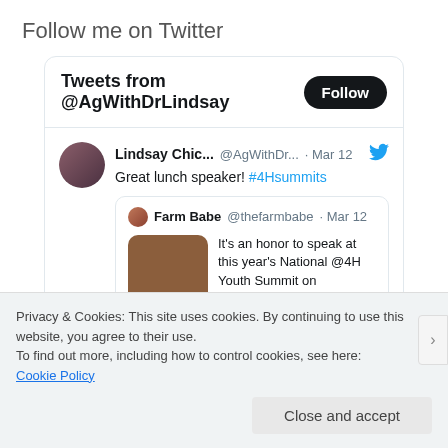Follow me on Twitter
[Figure (screenshot): Twitter widget showing tweets from @AgWithDrLindsay with a Follow button. Contains a tweet by Lindsay Chic... @AgWithDr... Mar 12 saying 'Great lunch speaker! #4Hsummits', which quotes a tweet from Farm Babe @thefarmbabe Mar 12: 'It's an honor to speak at this year's National @4H Youth Summit on Agriscience.']
Privacy & Cookies: This site uses cookies. By continuing to use this website, you agree to their use.
To find out more, including how to control cookies, see here:
Cookie Policy
Close and accept